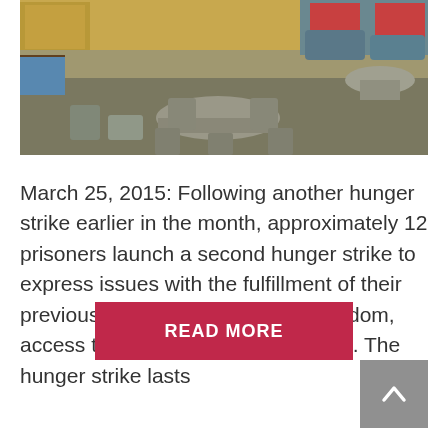[Figure (photo): Interior of what appears to be a prison or detention facility common room, showing tables, chairs, and seating areas with a mixed color scheme of teal furniture, grey floors, and colored walls.]
March 25, 2015: Following another hunger strike earlier in the month, approximately 12 prisoners launch a second hunger strike to express issues with the fulfillment of their previous demands for religious freedom, access to exercise and other issues. The hunger strike lasts